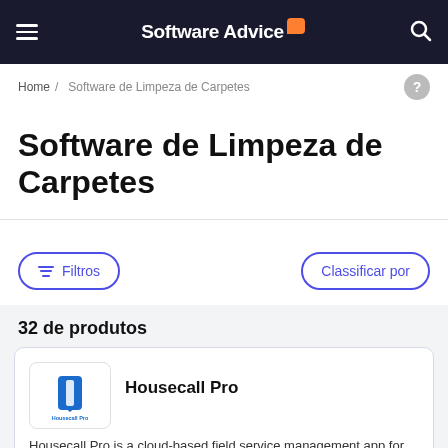Software Advice
Home / Software de Limpeza de Carpetes
Software de Limpeza de Carpetes
Filtros
Classificar por
32 de produtos
Housecall Pro
Housecall Pro is a cloud-based field service management app for service professionals to